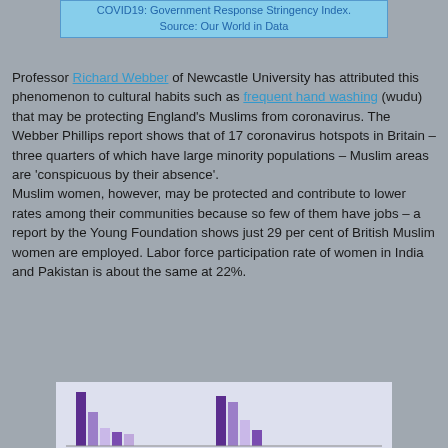COVID19: Government Response Stringency Index. Source: Our World in Data
Professor Richard Webber of Newcastle University has attributed this phenomenon to cultural habits such as frequent hand washing (wudu) that may be protecting England's Muslims from coronavirus. The Webber Phillips report shows that of 17 coronavirus hotspots in Britain – three quarters of which have large minority populations – Muslim areas are 'conspicuous by their absence'. Muslim women, however, may be protected and contribute to lower rates among their communities because so few of them have jobs – a report by the Young Foundation shows just 29 per cent of British Muslim women are employed. Labor force participation rate of women in India and Pakistan is about the same at 22%.
[Figure (bar-chart): Partial bar chart visible at bottom of page showing grouped bars in purple/lavender colors]